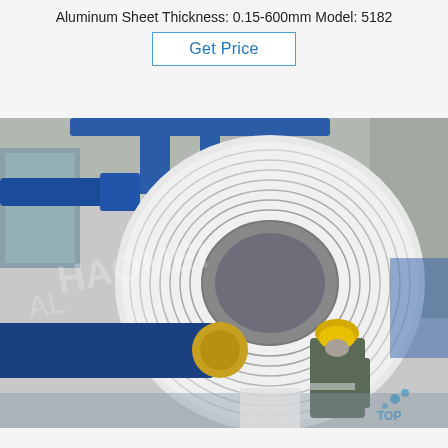Aluminum Sheet Thickness: 0.15-600mm Model: 5182
Get Price
[Figure (photo): Industrial photo of a large aluminum coil on a rolling machine in a factory, with a worker in a yellow hard hat and grey safety uniform inspecting the machinery. Blue heavy equipment and metal structure visible. Watermark text visible across the image.]